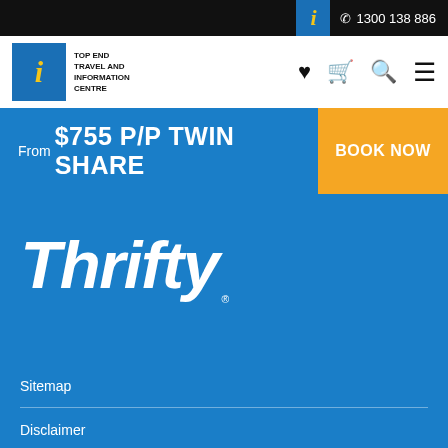i  1300 138 886
[Figure (logo): Top End Travel and Information Centre logo with blue i badge and text]
From $755 P/P TWIN SHARE
BOOK NOW
[Figure (logo): Thrifty car rental logo in white italic text on blue background]
Sitemap
Disclaimer
Terms & Conditions
Privacy Policy